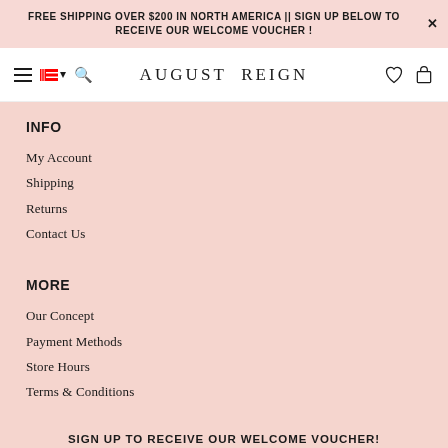FREE SHIPPING OVER $200 IN NORTH AMERICA || SIGN UP BELOW TO RECEIVE OUR WELCOME VOUCHER !
[Figure (screenshot): August Reign website navigation bar with hamburger menu, Canadian flag selector, search icon, brand logo 'AUGUST REIGN', heart icon, and bag icon]
INFO
My Account
Shipping
Returns
Contact Us
MORE
Our Concept
Payment Methods
Store Hours
Terms & Conditions
SIGN UP TO RECEIVE OUR WELCOME VOUCHER!